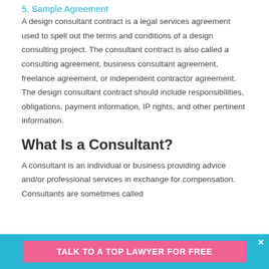5. Sample Agreement
A design consultant contract is a legal services agreement used to spell out the terms and conditions of a design consulting project. The consultant contract is also called a consulting agreement, business consultant agreement, freelance agreement, or independent contractor agreement. The design consultant contract should include responsibilities, obligations, payment information, IP rights, and other pertinent information.
What Is a Consultant?
A consultant is an individual or business providing advice and/or professional services in exchange for compensation. Consultants are sometimes called
TALK TO A TOP LAWYER FOR FREE